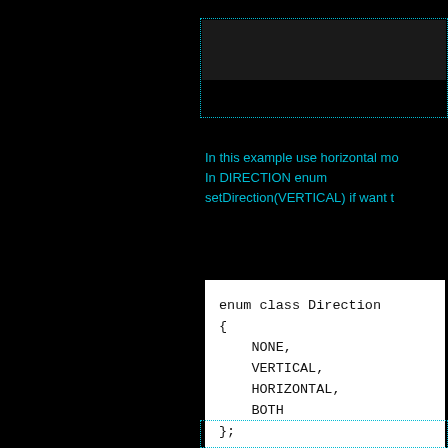[Figure (screenshot): Dark UI panel with dotted cyan border at top, containing a dark bar element]
In this example use horizontal mod. In DIRECTION enum setDirection(VERTICAL) if want t
enum class Direction
{
    NONE,
    VERTICAL,
    HORIZONTAL,
    BOTH
};
[Figure (screenshot): Dotted cyan border box at bottom of panel]